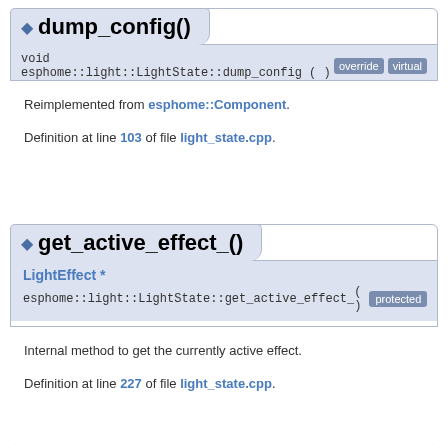dump_config()
void esphome::light::LightState::dump_config ( )   override  virtual
Reimplemented from esphome::Component.
Definition at line 103 of file light_state.cpp.
get_active_effect_()
LightEffect * esphome::light::LightState::get_active_effect_  ( )   protected
Internal method to get the currently active effect.
Definition at line 227 of file light_state.cpp.